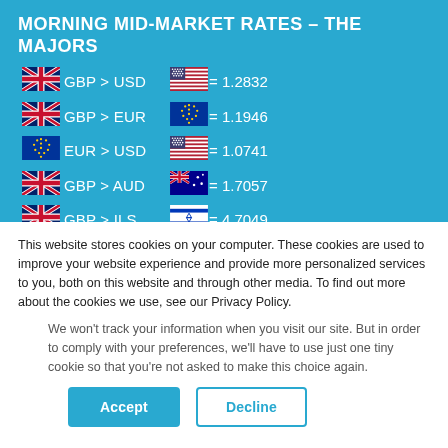MORNING MID-MARKET RATES – THE MAJORS
| From | Pair | To | Rate |
| --- | --- | --- | --- |
| GBP | GBP > USD | USD | = 1.2832 |
| GBP | GBP > EUR | EUR | = 1.1946 |
| EUR | EUR > USD | USD | = 1.0741 |
| GBP | GBP > AUD | AUD | = 1.7057 |
| GBP | GBP > ILS | ILS | = 4.7049 |
| GBP | GBP > CAD | CAD | = 1.7275 |
This website stores cookies on your computer. These cookies are used to improve your website experience and provide more personalized services to you, both on this website and through other media. To find out more about the cookies we use, see our Privacy Policy.
We won't track your information when you visit our site. But in order to comply with your preferences, we'll have to use just one tiny cookie so that you're not asked to make this choice again.
Accept | Decline